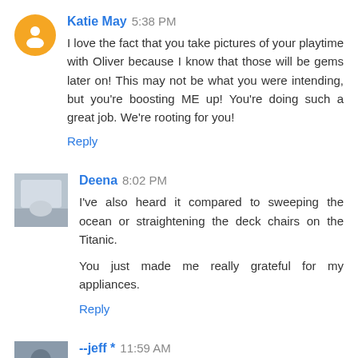Katie May  5:38 PM
I love the fact that you take pictures of your playtime with Oliver because I know that those will be gems later on! This may not be what you were intending, but you're boosting ME up! You're doing such a great job. We're rooting for you!
Reply
Deena  8:02 PM
I've also heard it compared to sweeping the ocean or straightening the deck chairs on the Titanic.

You just made me really grateful for my appliances.
Reply
--jeff *  11:59 AM
em, you're an example and an inspiration to so many. thank you for writing.